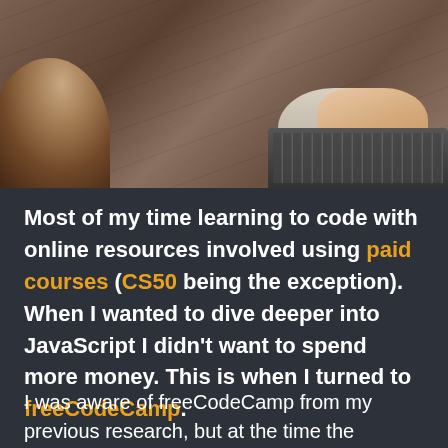[Figure (photo): Overhead view of a person with dark hair sitting at a wooden desk, typing on a laptop keyboard. Only the top of their head and their hands are visible. A second person's arm/hand is visible on the right side.]
Most of my time learning to code with online resources involved using paid courses (CS50 being the exception). When I wanted to dive deeper into JavaScript I didn't want to spend more money. This is when I turned to freeCodeCamp.
I was aware of freeCodeCamp from my previous research, but at the time the